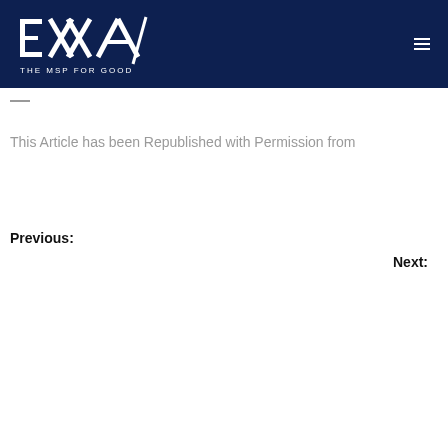[Figure (logo): EXXA logo with text 'THE MSP FOR GOOD' on a dark navy background, with a hamburger menu icon on the right]
—
This Article has been Republished with Permission from
Previous:
Next: